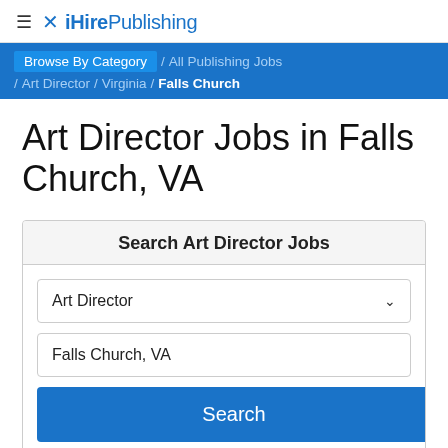≡ ✕ iHirePublishing
Browse By Category / All Publishing Jobs / Art Director / Virginia / Falls Church
Art Director Jobs in Falls Church, VA
Search Art Director Jobs
Art Director
Falls Church, VA
Search